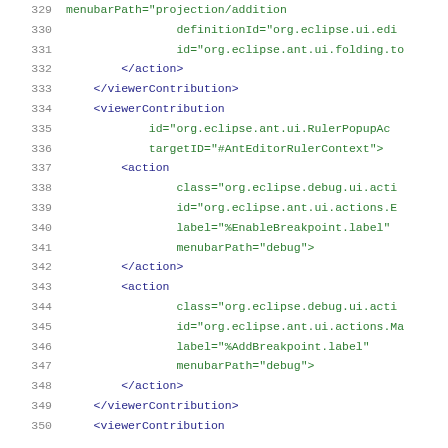Code listing lines 329-350, XML configuration snippet from Eclipse plugin file
329: menubarPath="projection/addition
330:     definitionId="org.eclipse.ui.edi
331:     id="org.eclipse.ant.ui.folding.to
332:   </action>
333:   </viewerContribution>
334:   <viewerContribution
335:       id="org.eclipse.ant.ui.RulerPopupAc
336:       targetID="#AntEditorRulerContext">
337:     <action
338:         class="org.eclipse.debug.ui.acti
339:         id="org.eclipse.ant.ui.actions.E
340:         label="%EnableBreakpoint.label"
341:         menubarPath="debug">
342:     </action>
343:     <action
344:         class="org.eclipse.debug.ui.acti
345:         id="org.eclipse.ant.ui.actions.Ma
346:         label="%AddBreakpoint.label"
347:         menubarPath="debug">
348:     </action>
349:   </viewerContribution>
350:   <viewerContribution